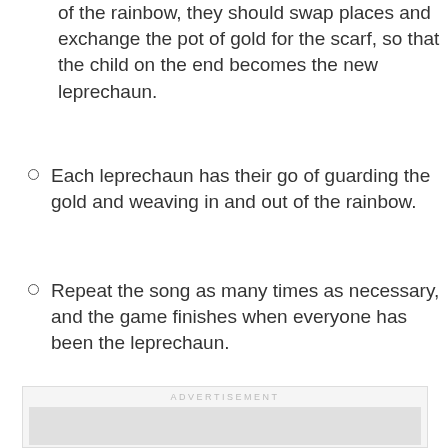of the rainbow, they should swap places and exchange the pot of gold for the scarf, so that the child on the end becomes the new leprechaun.
Each leprechaun has their go of guarding the gold and weaving in and out of the rainbow.
Repeat the song as many times as necessary, and the game finishes when everyone has been the leprechaun.
[Figure (other): Advertisement placeholder box with label ADVERTISEMENT and empty grey inner area]